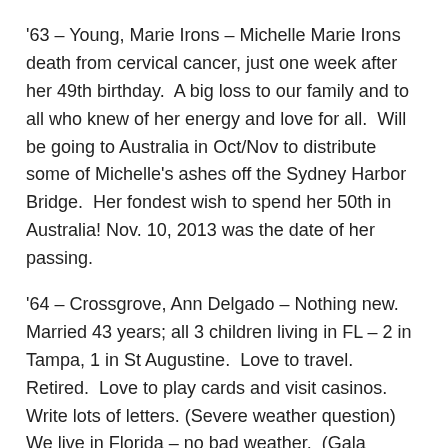'63 – Young, Marie Irons – Michelle Marie Irons death from cervical cancer, just one week after her 49th birthday.  A big loss to our family and to all who knew of her energy and love for all.  Will be going to Australia in Oct/Nov to distribute some of Michelle's ashes off the Sydney Harbor Bridge.  Her fondest wish to spend her 50th in Australia!  Nov. 10, 2013 was the date of her passing.
'64 – Crossgrove, Ann Delgado – Nothing new.  Married 43 years; all 3 children living in FL – 2 in Tampa, 1 in St Augustine.  Love to travel.  Retired.  Love to play cards and visit casinos.  Write lots of letters. (Severe weather question)  We live in Florida – no bad weather.  (Gala question) Did not attend the Gala – heard nothing about it.
'64 – Jakubowski, Elaine Coon – Finally retired in Sept